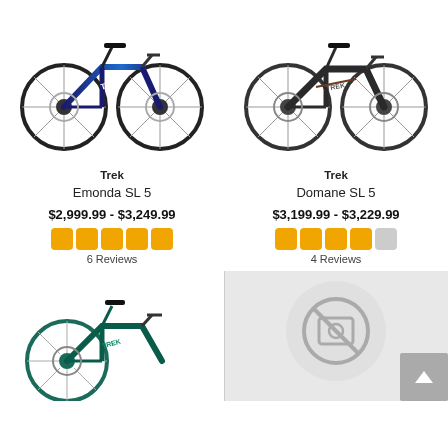[Figure (photo): Trek Emonda SL 5 road bike in blue/black color]
[Figure (photo): Trek Domane SL 5 road bike in dark/black color]
Trek
Emonda SL 5
$2,999.99 - $3,249.99
6 Reviews
Trek
Domane SL 5
$3,199.99 - $3,229.99
4 Reviews
[Figure (photo): Trek road bike in teal/black (partial, bottom of page)]
[Figure (photo): No image available placeholder icon]